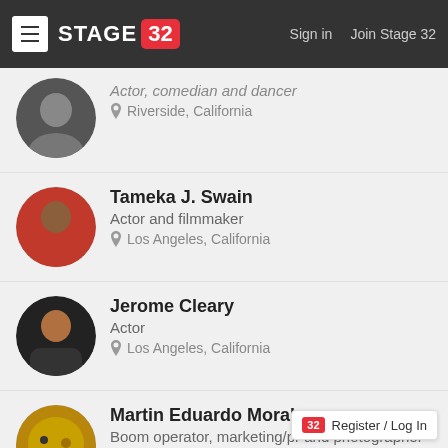[Figure (screenshot): Stage 32 website header with logo, hamburger menu, Sign in and Join Stage 32 links]
Actor, comedian and dancer | Riverside, California
Tameka J. Swain | Actor and filmmaker | Los Angeles, California
Jerome Cleary | Actor | Los Angeles, California
Martin Eduardo Morales | Boom operator, marketing/pr and photographer (still) | Riverside, California
David Pone